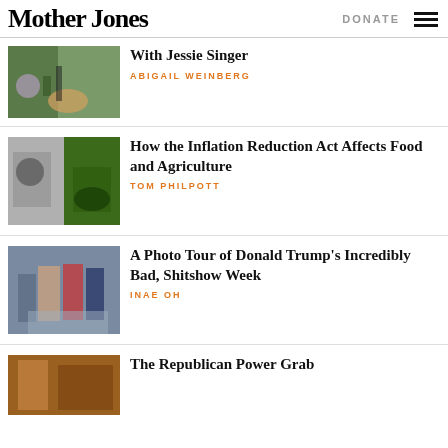Mother Jones  DONATE
[Figure (photo): Person kneeling by a bicycle with flowers at a roadside memorial]
Accident: A Conversation With Jessie Singer
ABIGAIL WEINBERG
[Figure (photo): Split image: black and white photo of a man at a podium on the left, green tractor in field on the right]
How the Inflation Reduction Act Affects Food and Agriculture
TOM PHILPOTT
[Figure (photo): Donald Trump walking with security personnel in suits outside a building]
A Photo Tour of Donald Trump's Incredibly Bad, Shitshow Week
INAE OH
[Figure (photo): Partial view of a colorful interior space]
The Republican Power Grab